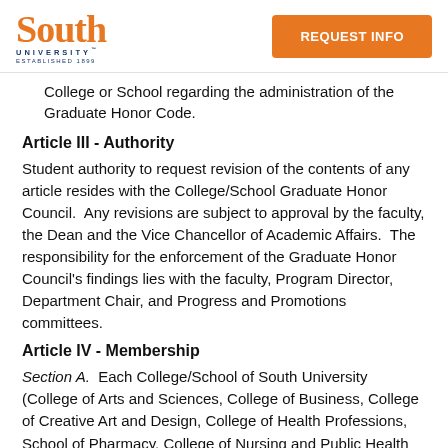South University | REQUEST INFO
College or School regarding the administration of the Graduate Honor Code.
Article III - Authority
Student authority to request revision of the contents of any article resides with the College/School Graduate Honor Council.  Any revisions are subject to approval by the faculty, the Dean and the Vice Chancellor of Academic Affairs.  The responsibility for the enforcement of the Graduate Honor Council's findings lies with the faculty, Program Director, Department Chair, and Progress and Promotions committees.
Article IV - Membership
Section A.  Each College/School of South University (College of Arts and Sciences, College of Business, College of Creative Art and Design, College of Health Professions, School of Pharmacy, College of Nursing and Public Health and the College of Theology) shall maintain its own Graduate Honor Council.  The Graduate Honor Council shall be assembled according to the